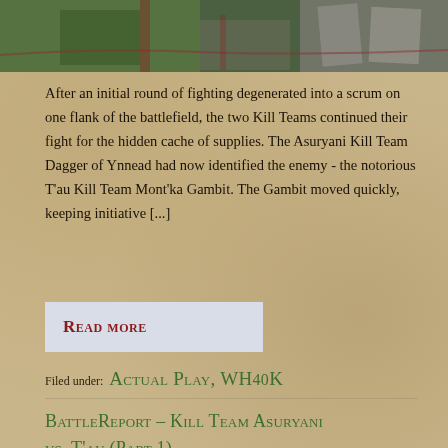[Figure (photo): Top portion shows a battlefield/gaming table scene with green terrain and gray structures, partially cropped]
After an initial round of fighting degenerated into a scrum on one flank of the battlefield, the two Kill Teams continued their fight for the hidden cache of supplies. The Asuryani Kill Team Dagger of Ynnead had now identified the enemy - the notorious T'au Kill Team Mont'ka Gambit. The Gambit moved quickly, keeping initiative [...]
Read more
Filed under: Actual Play, WH40K
BattleReport – Kill Team Asuryani vs. T'au (Part 1)